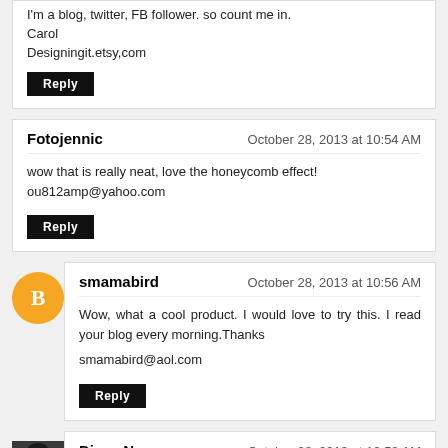I'm a blog, twitter, FB follower. so count me in.
Carol
Designingit.etsy,com
Reply
Fotojennic — October 28, 2013 at 10:54 AM
wow that is really neat, love the honeycomb effect!
ou812amp@yahoo.com
Reply
smamabird — October 28, 2013 at 10:56 AM
Wow, what a cool product. I would love to try this. I read your blog every morning.Thanks

smamabird@aol.com
Reply
Divya N — October 28, 2013 at 10:58 AM